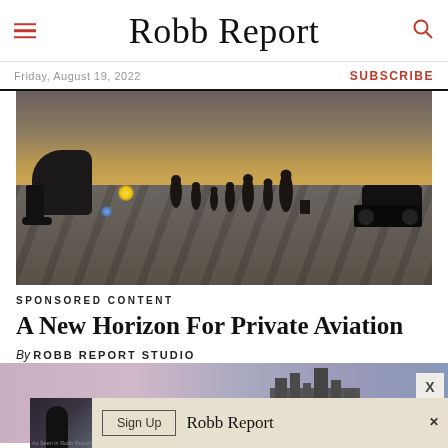Robb Report
Friday, August 19, 2022    SUBSCRIBE
[Figure (photo): People walking on airport tarmac toward a private jet and a luxury SUV, with long shadows cast on the runway surface]
SPONSORED CONTENT
A New Horizon For Private Aviation
By ROBB REPORT STUDIO
[Figure (photo): Partial view of a second article image showing a cityscape/building at dusk with pinkish sky]
[Figure (screenshot): Robb Report advertisement banner with Sign Up button and Robb Report logo]